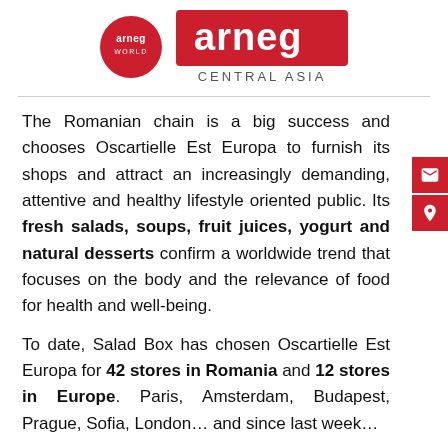[Figure (logo): Arneg World circular red logo and Arneg Central Asia rectangular red logo with white text]
The Romanian chain is a big success and chooses Oscartielle Est Europa to furnish its shops and attract an increasingly demanding, attentive and healthy lifestyle oriented public. Its fresh salads, soups, fruit juices, yogurt and natural desserts confirm a worldwide trend that focuses on the body and the relevance of food for health and well-being.
To date, Salad Box has chosen Oscartielle Est Europa for 42 stores in Romania and 12 stores in Europe. Paris, Amsterdam, Budapest, Prague, Sofia, London… and since last week…